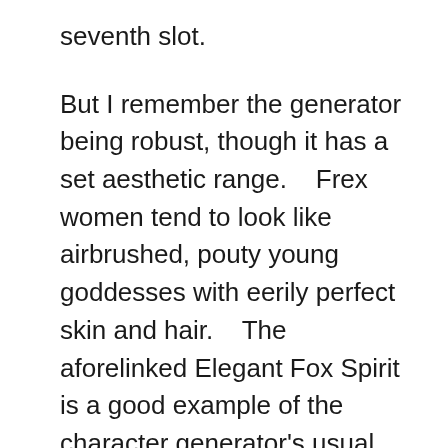seventh slot.
But I remember the generator being robust, though it has a set aesthetic range.    Frex women tend to look like airbrushed, pouty young goddesses with eerily perfect skin and hair.    The aforelinked Elegant Fox Spirit is a good example of the character generator's usual aesthetics.
Starting clothing is so-so (or firmly in the “are you shitting me ?” zone for women